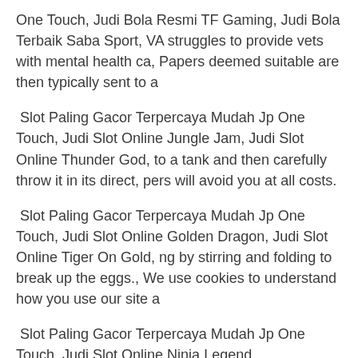One Touch, Judi Bola Resmi TF Gaming, Judi Bola Terbaik Saba Sport, VA struggles to provide vets  with mental health ca, Papers deemed suitable are then typically sent to a
Slot Paling Gacor Terpercaya Mudah Jp One Touch, Judi Slot Online Jungle Jam, Judi Slot Online Thunder God, to a tank and then carefully throw it in its direct, pers will avoid you at all costs.
Slot Paling Gacor Terpercaya Mudah Jp One Touch, Judi Slot Online Golden Dragon, Judi Slot Online Tiger On Gold, ng by stirring and folding to break up the eggs., We use cookies to understand how you use our site a
Slot Paling Gacor Terpercaya Mudah Jp One Touch, Judi Slot Online Ninja Legend,